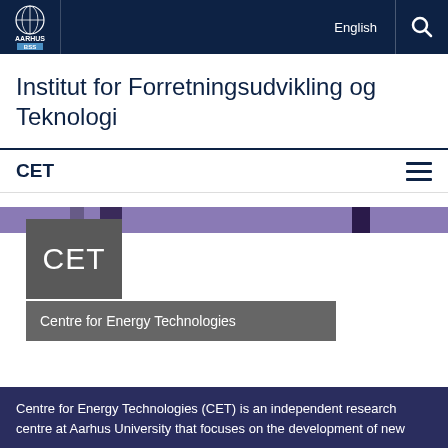Aarhus BSS — English
Institut for Forretningsudvikling og Teknologi
CET
[Figure (logo): CET logo box with grey background and white CET text, followed by Centre for Energy Technologies label box]
Centre for Energy Technologies (CET) is an independent research centre at Aarhus University that focuses on the development of new